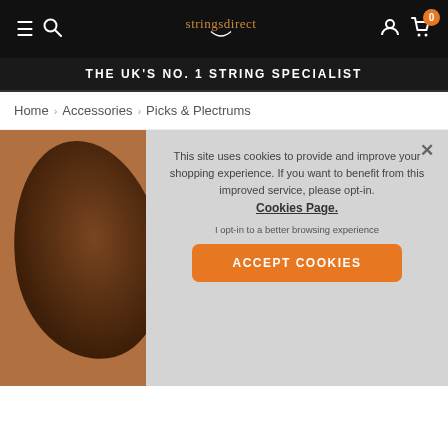StringsDirect navigation bar with menu, search, logo, account, and cart icons
THE UK'S NO. 1 STRING SPECIALIST
Home › Accessories › Picks & Plectrums
[Figure (screenshot): Product image partially visible behind cookie consent overlay]
This site uses cookies to provide and improve your shopping experience. If you want to benefit from this improved service, please opt-in. Cookies Page.

I opt-in to a better browsing experience

ACCEPT COOKIES